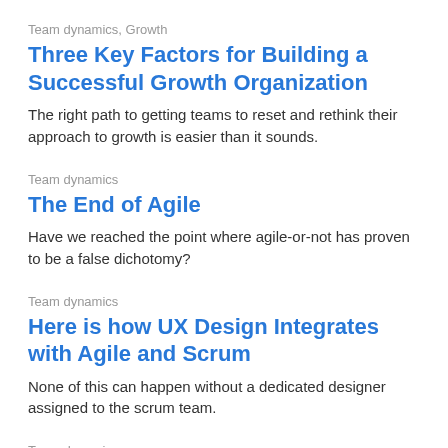Team dynamics, Growth
Three Key Factors for Building a Successful Growth Organization
The right path to getting teams to reset and rethink their approach to growth is easier than it sounds.
Team dynamics
The End of Agile
Have we reached the point where agile-or-not has proven to be a false dichotomy?
Team dynamics
Here is how UX Design Integrates with Agile and Scrum
None of this can happen without a dedicated designer assigned to the scrum team.
Team dynamics